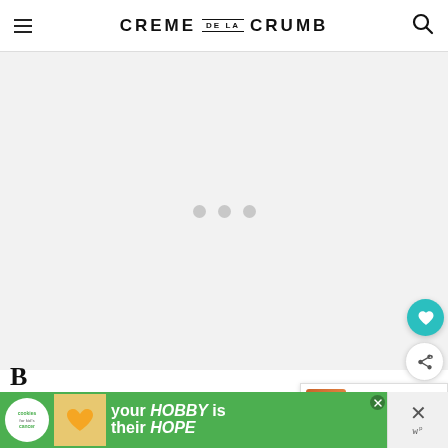CREME DE LA CRUMB
[Figure (screenshot): Loading placeholder with three gray dots on a light gray background]
[Figure (infographic): Circular teal heart/favorite button and circular share button on the right side]
[Figure (screenshot): What's Next panel showing Baked Honey Sriracha Lim... with a thumbnail of the dish]
B...
[Figure (screenshot): Cookies for Kid's Cancer charity advertisement banner with green background: 'your HOBBY is their HOPE']